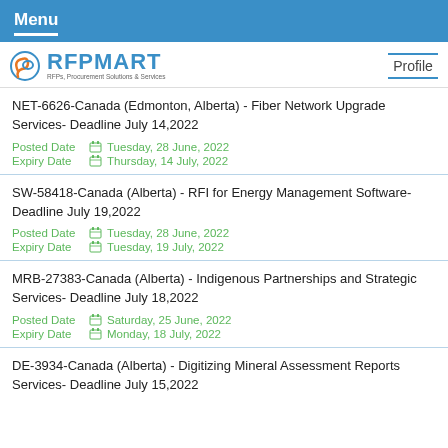Menu
[Figure (logo): RFPMART logo with tagline 'RFPs, Procurement Solutions & Services']
Profile
NET-6626-Canada (Edmonton, Alberta) - Fiber Network Upgrade Services- Deadline July 14,2022
Posted Date  Tuesday, 28 June, 2022
Expiry Date  Thursday, 14 July, 2022
SW-58418-Canada (Alberta) - RFI for Energy Management Software- Deadline July 19,2022
Posted Date  Tuesday, 28 June, 2022
Expiry Date  Tuesday, 19 July, 2022
MRB-27383-Canada (Alberta) - Indigenous Partnerships and Strategic Services- Deadline July 18,2022
Posted Date  Saturday, 25 June, 2022
Expiry Date  Monday, 18 July, 2022
DE-3934-Canada (Alberta) - Digitizing Mineral Assessment Reports Services- Deadline July 15,2022